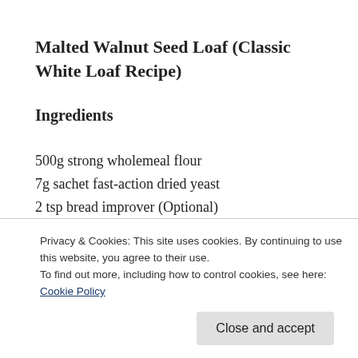Malted Walnut Seed Loaf (Classic White Loaf Recipe)
Ingredients
500g strong wholemeal flour
7g sachet fast-action dried yeast
2 tsp bread improver (Optional)
Privacy & Cookies: This site uses cookies. By continuing to use this website, you agree to their use.
To find out more, including how to control cookies, see here: Cookie Policy
Close and accept